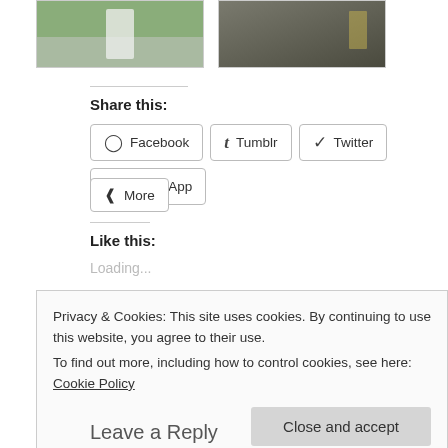[Figure (photo): Two thumbnail images side by side: left shows an outdoor scene with a white-dressed figure and greenery, right shows an interior or darker outdoor scene.]
Share this:
Facebook  Tumblr  Twitter  WhatsApp  More
Like this:
Loading...
Privacy & Cookies: This site uses cookies. By continuing to use this website, you agree to their use.
To find out more, including how to control cookies, see here: Cookie Policy
Close and accept
Leave a Reply